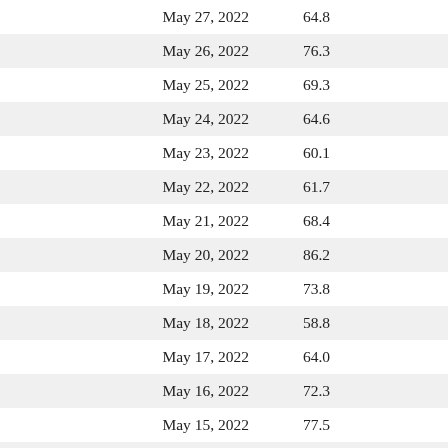| Date | Value |
| --- | --- |
| May 27, 2022 | 64.8 |
| May 26, 2022 | 76.3 |
| May 25, 2022 | 69.3 |
| May 24, 2022 | 64.6 |
| May 23, 2022 | 60.1 |
| May 22, 2022 | 61.7 |
| May 21, 2022 | 68.4 |
| May 20, 2022 | 86.2 |
| May 19, 2022 | 73.8 |
| May 18, 2022 | 58.8 |
| May 17, 2022 | 64.0 |
| May 16, 2022 | 72.3 |
| May 15, 2022 | 77.5 |
| May 14, 2022 | 89.2 |
| May 13, 2022 | 88.7 |
| May 12, 2022 | 91.6 |
| May 11, 2022 | 81.3 |
| May 10, 2022 | 84.2 |
| May 9, 2022 | 73.8 |